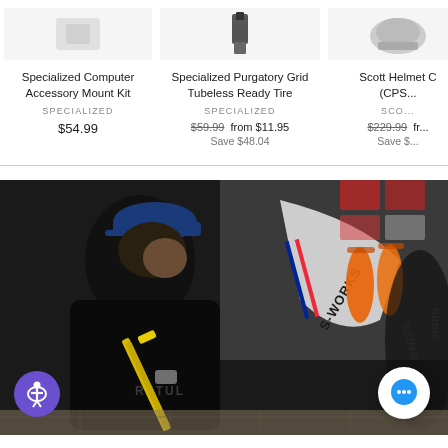[Figure (other): Product image placeholder for Specialized Computer Accessory Mount Kit]
Specialized Computer Accessory Mount Kit
SPECIALIZED
$54.99
[Figure (other): Product image showing component on white background for Specialized Purgatory Grid Tubeless Ready Tire]
Specialized Purgatory Grid Tubeless Ready Tire
SPECIALIZED
$59.99 from $11.95 Save $48.04
[Figure (other): Partial product image for Scott Helmet (CPS...)]
Scott Helmet C (CPS...)
SCOTT
$229.99 fr... Save $...
[Figure (photo): A bike mechanic wearing a blue cap and black t-shirt with RETUL text, working on a white S-Works bicycle in a bike shop. Orange water bottles and bike accessories visible in background.]